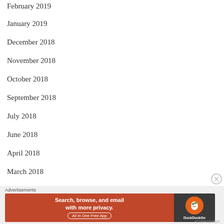February 2019
January 2019
December 2018
November 2018
October 2018
September 2018
July 2018
June 2018
April 2018
March 2018
February 2018 (partial)
[Figure (other): DuckDuckGo advertisement banner: orange left panel with text 'Search, browse, and email with more privacy. All in One Free App' and dark right panel with DuckDuckGo duck logo and brand name]
Advertisements